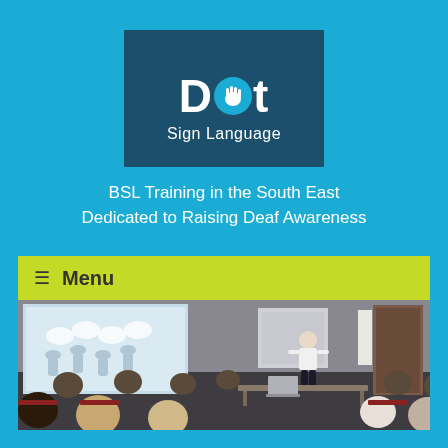[Figure (logo): Dot Sign Language logo: white text 'Dot' with a hand icon in the letter O, on a dark teal background, with 'Sign Language' beneath]
BSL Training in the South East
Dedicated to Raising Deaf Awareness
☰ Menu
[Figure (photo): A classroom training session showing a presenter in a white top standing at the front near a projected screen showing people with speech bubbles, with an audience of attendees seated in chairs]